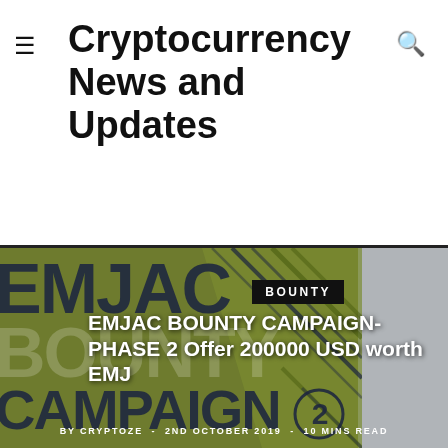Cryptocurrency News and Updates
[Figure (illustration): EMJAC Bounty Campaign Phase 2 promotional banner with dark olive/green background, large watermark text reading EMJAC, BOUNTY, CAMPAIGN 2 in dark navy, decorative diagonal stripes, a gray panel on the right, a black BOUNTY label box, and white article title overlay text. Meta line: BY CRYPTOZE - 2ND OCTOBER 2019 - 10 MINS READ]
EMJAC BOUNTY CAMPAIGN- PHASE 2 Offer 200000 USD worth EMJ
BY CRYPTOZE  -  2ND OCTOBER 2019  -  10 MINS READ